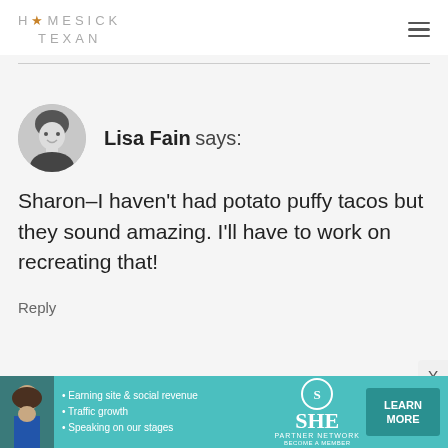HOMESICK TEXAN
Lisa Fain says:
Sharon–I haven't had potato puffy tacos but they sound amazing. I'll have to work on recreating that!
Reply
[Figure (infographic): SHE Partner Network advertisement banner with a woman's photo, bullet points about earning site & social revenue, traffic growth, speaking on stages, the SHE Media logo, a LEARN MORE button, and an X close button.]